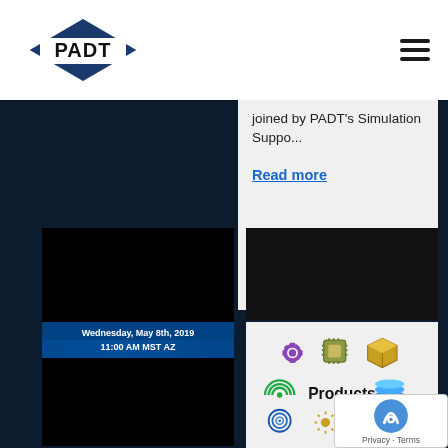PADT
joined by PADT's Simulation Suppo...
Read more
[Figure (screenshot): Dark video thumbnail with overlay text 'Wednesday, May 8th, 2019 11:00 AM MST AZ']
[Figure (screenshot): Dark/black image panel on right side]
[Figure (infographic): Products section with colorful technology icons (gear, chip, package, radio waves, stack, spiral, burst, box) and bold 'Products' label]
[Figure (other): Google reCAPTCHA badge with Privacy and Terms links]